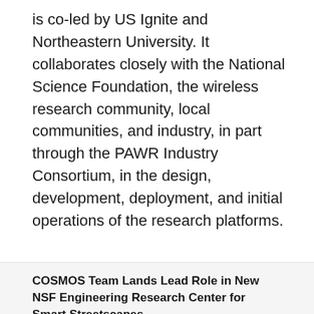is co-led by US Ignite and Northeastern University. It collaborates closely with the National Science Foundation, the wireless research community, local communities, and industry, in part through the PAWR Industry Consortium, in the design, development, deployment, and initial operations of the research platforms.
[Figure (infographic): Social sharing buttons row: Facebook (blue), Twitter (light blue), LinkedIn (dark blue), Email (gray), Share (green)]
COSMOS Team Lands Lead Role in New NSF Engineering Research Center for Smart Streetscapes